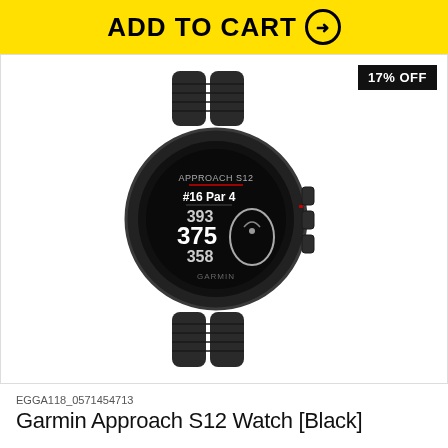ADD TO CART →
[Figure (photo): Garmin Approach S12 GPS golf watch in black, showing #16 Par 4 screen with distances 393, 375, 358 and a golf hole layout icon]
17% OFF
EGGA118_0571454713
Garmin Approach S12 Watch [Black]